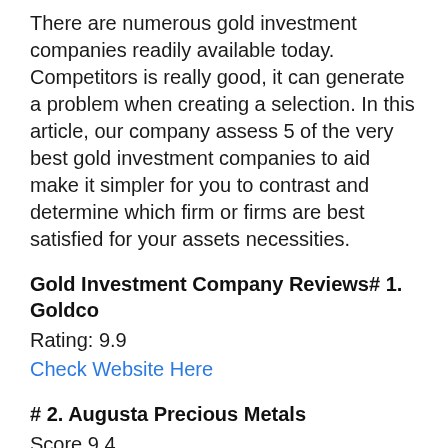There are numerous gold investment companies readily available today. Competitors is really good, it can generate a problem when creating a selection. In this article, our company assess 5 of the very best gold investment companies to aid make it simpler for you to contrast and determine which firm or firms are best satisfied for your assets necessities.
Gold Investment Company Reviews# 1. Goldco
Rating: 9.9
Check Website Here
# 2. Augusta Precious Metals
Score 9.4
Check Website Here